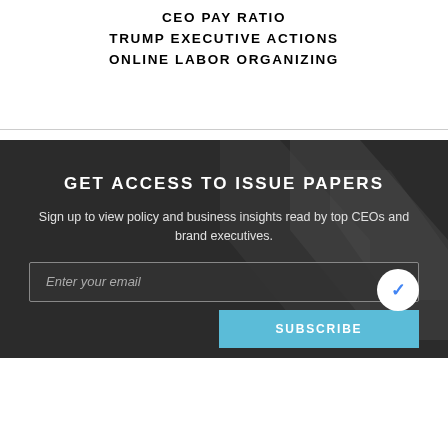CEO PAY RATIO
TRUMP EXECUTIVE ACTIONS
ONLINE LABOR ORGANIZING
GET ACCESS TO ISSUE PAPERS
Sign up to view policy and business insights read by top CEOs and brand executives.
Enter your email
SUBSCRIBE